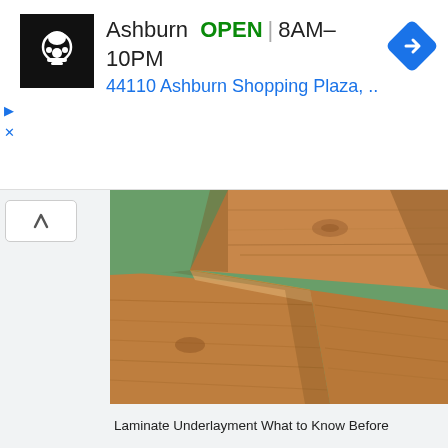[Figure (screenshot): Ad banner showing a store logo (black square with chef icon), store info: Ashburn OPEN 8AM–10PM, 44110 Ashburn Shopping Plaza, .., and a blue navigation diamond icon on the right. Below the main ad row are two small controls: a play triangle and an X.]
[Figure (photo): Photo of laminate wood flooring planks being installed over a green underlayment. Two planks are shown at an angle, revealing the tongue-and-groove joint and the green foam underlayment beneath.]
Laminate Underlayment What to Know Before